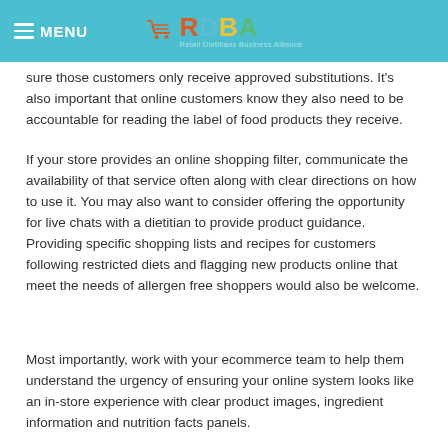MENU | RDBA - Retail Dietitians Business Alliance
sure those customers only receive approved substitutions. It's also important that online customers know they also need to be accountable for reading the label of food products they receive.
If your store provides an online shopping filter, communicate the availability of that service often along with clear directions on how to use it. You may also want to consider offering the opportunity for live chats with a dietitian to provide product guidance.  Providing specific shopping lists and recipes for customers following restricted diets and flagging new products online that meet the needs of allergen free shoppers would also be welcome.
Most importantly, work with your ecommerce team to help them understand the urgency of ensuring your online system looks like an in-store experience with clear product images, ingredient information and nutrition facts panels.